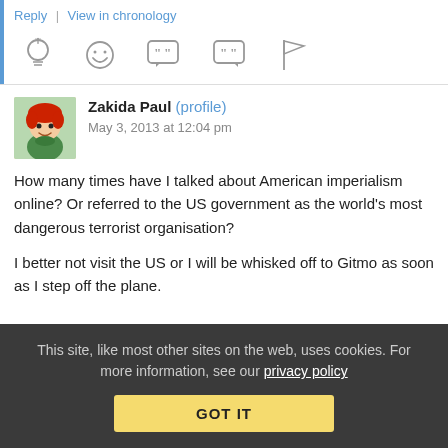Reply | View in chronology
[Figure (other): Row of action icons: lightbulb, smiley face, open-quote bubble, close-quote bubble, flag]
[Figure (photo): Avatar of user Zakida Paul - cartoon red-haired doll in green outfit]
Zakida Paul (profile)   May 3, 2013 at 12:04 pm
How many times have I talked about American imperialism online? Or referred to the US government as the world's most dangerous terrorist organisation?

I better not visit the US or I will be whisked off to Gitmo as soon as I step off the plane.
This site, like most other sites on the web, uses cookies. For more information, see our privacy policy  GOT IT